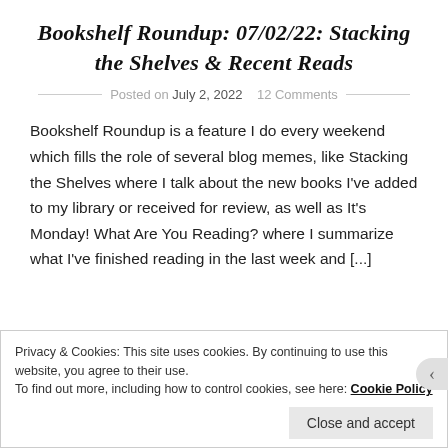Bookshelf Roundup: 07/02/22: Stacking the Shelves & Recent Reads
Posted on July 2, 2022    12 Comments
Bookshelf Roundup is a feature I do every weekend which fills the role of several blog memes, like Stacking the Shelves where I talk about the new books I've added to my library or received for review, as well as It's Monday! What Are You Reading? where I summarize what I've finished reading in the last week and [...]
Privacy & Cookies: This site uses cookies. By continuing to use this website, you agree to their use.
To find out more, including how to control cookies, see here: Cookie Policy
Close and accept